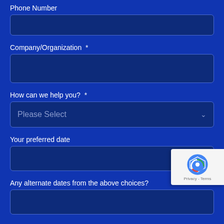Phone Number
Company/Organization  *
How can we help you?  *
Your preferred date
Any alternate dates from the above choices?
Comments
[Figure (screenshot): reCAPTCHA badge with logo and Privacy - Terms text]